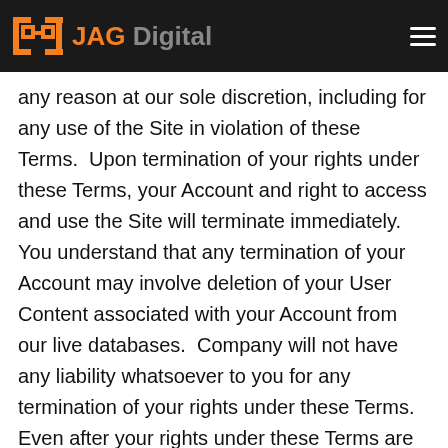JAG Digital
while you use the Site.  We may suspend or terminate your access to the Site at any time for any reason at our sole discretion, including for any use of the Site in violation of these Terms.  Upon termination of your rights under these Terms, your Account and right to access and use the Site will terminate immediately.  You understand that any termination of your Account may involve deletion of your User Content associated with your Account from our live databases.  Company will not have any liability whatsoever to you for any termination of your rights under these Terms.  Even after your rights under these Terms are terminated, the following provisions of these Terms will remain in